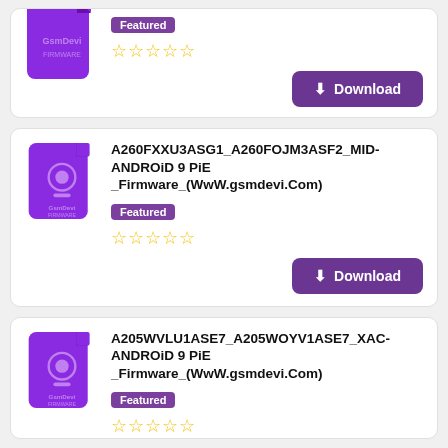[Figure (screenshot): Partial firmware card at top with purple icon, Featured badge, 5 empty stars, and Download button]
[Figure (screenshot): Firmware card: A260FXXU3ASG1_A260FOJM3ASF2_MID-ANDROiD 9 PiE _Firmware_(WwW.gsmdevi.Com) with Featured badge, 5 empty stars, Download button]
[Figure (screenshot): Firmware card: A205WVLU1ASE7_A205WOYV1ASE7_XAC-ANDROiD 9 PiE _Firmware_(WwW.gsmdevi.Com) with Featured badge, 5 empty stars, Download button (partial)]